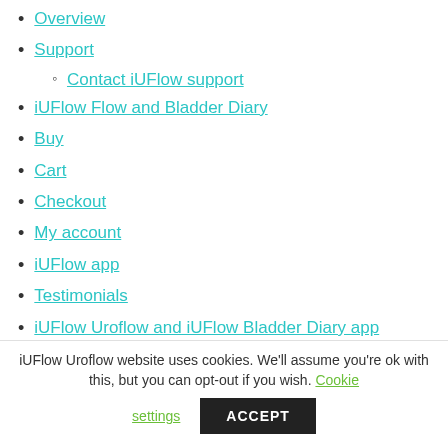Overview
Support
Contact iUFlow support
iUFlow Flow and Bladder Diary
Buy
Cart
Checkout
My account
iUFlow app
Testimonials
iUFlow Uroflow and iUFlow Bladder Diary app
iUFlow Uroflow website uses cookies. We'll assume you're ok with this, but you can opt-out if you wish. Cookie settings ACCEPT